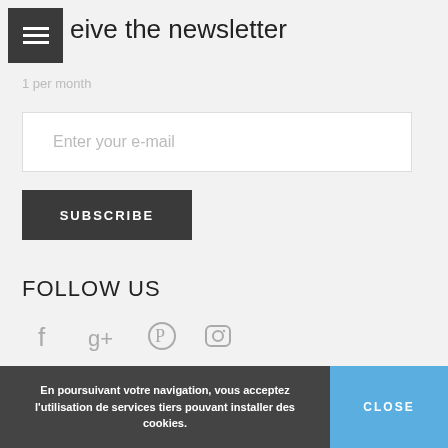eive the newsletter
1 per month
Enter your e-mail
SUBSCRIBE
FOLLOW US
[Figure (illustration): Social media icons: Facebook, Google+, Pinterest, Instagram]
En poursuivant votre navigation, vous acceptez l'utilisation de services tiers pouvant installer des cookies.
CLOSE